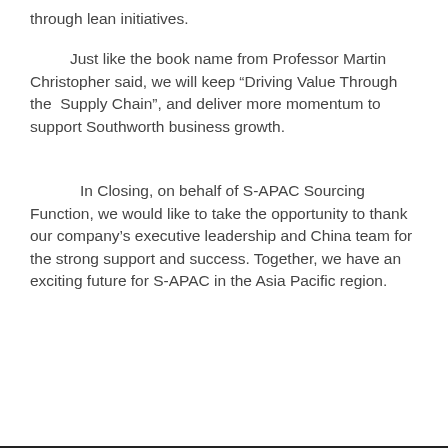through lean initiatives.
Just like the book name from Professor Martin Christopher said, we will keep “Driving Value Through the Supply Chain”, and deliver more momentum to support Southworth business growth.
In Closing, on behalf of S-APAC Sourcing Function, we would like to take the opportunity to thank our company’s executive leadership and China team for the strong support and success. Together, we have an exciting future for S-APAC in the Asia Pacific region.